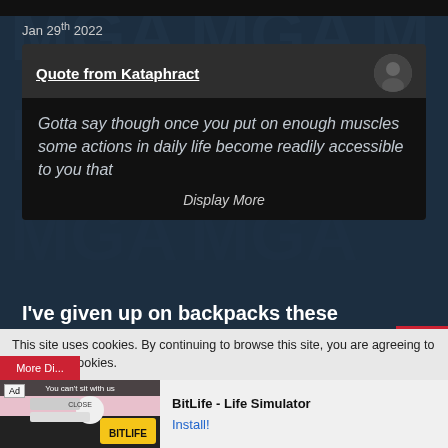Jan 29th 2022
[Figure (screenshot): Quoted post from user Kataphract with avatar image. Quote text reads: 'Gotta say though once you put on enough muscles some actions in daily life become readily accessible to you that' followed by a 'Display More' link.]
I've given up on backpacks these days lmao
If it doesn't fit in My hands, I'm not carrying it 2x (14).gif
This site uses cookies. By continuing to browse this site, you are agreeing to our use of cookies.
[Figure (screenshot): Advertisement for BitLife - Life Simulator app with Install button.]